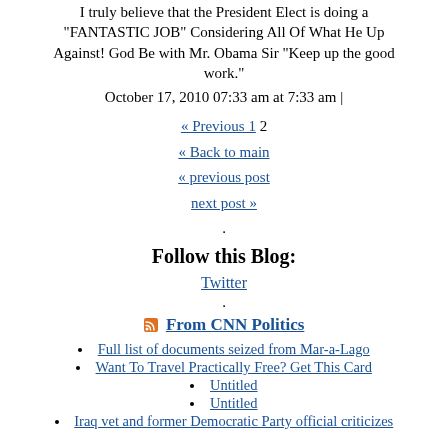I truly believe that the President Elect is doing a "FANTASTIC JOB" Considering All Of What He Up Against! God Be with Mr. Obama Sir "Keep up the good work."
October 17, 2010 07:33 am at 7:33 am |
« Previous 1 2
« Back to main
« previous post
next post »
.
Follow this Blog:
Twitter
.
From CNN Politics
Full list of documents seized from Mar-a-Lago
Want To Travel Practically Free? Get This Card
Untitled
Untitled
Iraq vet and former Democratic Party official criticizes